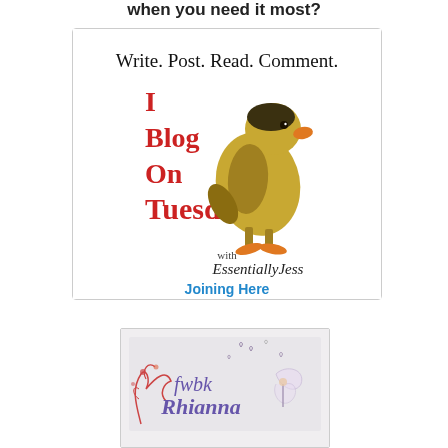when you need it most?
[Figure (logo): I Blog On Tuesday with EssentiallyJess badge. Shows a duckling, handwritten text 'Write. Post. Read. Comment.' in black, large red text 'I Blog On Tuesday', cursive text 'with EssentiallyJess' in dark. Below the badge is a teal link text 'Joining Here'.]
[Figure (logo): fwbk Rhianna logo with decorative floral and fairy/butterfly illustration, purple and grey text on light grey background.]